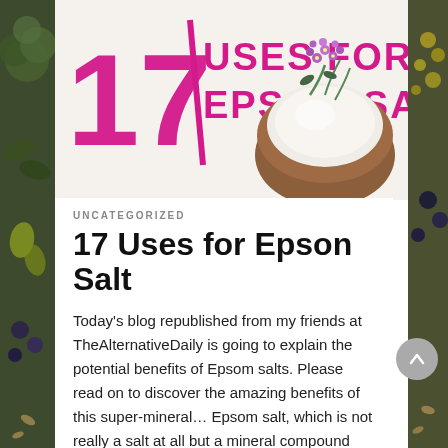[Figure (infographic): Hero image showing '17 USES FOR EPSOM SALT' text in magenta/pink with a wooden bowl of white salt topped with purple flowers, on a light background. Left and right edges show blurred food/vegetable photography.]
UNCATEGORIZED
17 Uses for Epson Salt
Today's blog republished from my friends at TheAlternativeDaily is going to explain the potential benefits of Epsom salts. Please read on to discover the amazing benefits of this super-mineral… Epsom salt, which is not really a salt at all but a mineral compound comprised of magnesium and sulfate, gets its named from a saline spring …